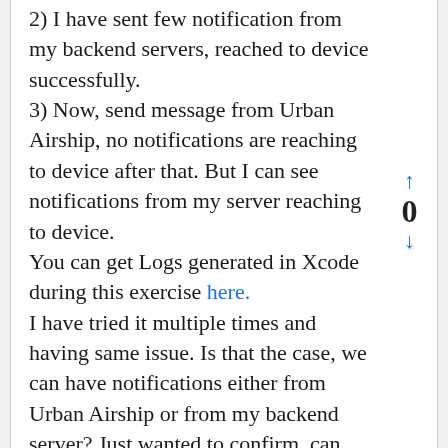2) I have sent few notification from my backend servers, reached to device successfully.
3) Now, send message from Urban Airship, no notifications are reaching to device after that. But I can see notifications from my server reaching to device.
You can get Logs generated in Xcode during this exercise here.
I have tried it multiple times and having same issue. Is that the case, we can have notifications either from Urban Airship or from my backend server? Just wanted to confirm, can we have both implementation in place (Apple native notification and Urban